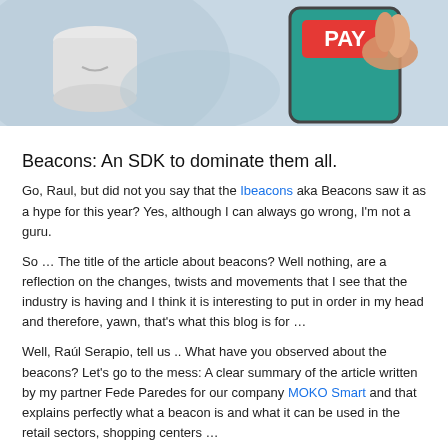[Figure (photo): Photo composite: left side shows a white cylindrical smart device (beacon/hub) on a blurred background; right side shows an illustrated hand pressing a red PAY button on a teal smartphone screen.]
Beacons: An SDK to dominate them all.
Go, Raul, but did not you say that the Ibeacons aka Beacons saw it as a hype for this year? Yes, although I can always go wrong, I'm not a guru.
So … The title of the article about beacons? Well nothing, are a reflection on the changes, twists and movements that I see that the industry is having and I think it is interesting to put in order in my head and therefore, yawn, that's what this blog is for …
Well, Raúl Serapio, tell us .. What have you observed about the beacons? Let's go to the mess: A clear summary of the article written by my partner Fede Paredes for our company MOKO Smart and that explains perfectly what a beacon is and what it can be used in the retail sectors, shopping centers …
A beacon is a beacon that sends an identifier, it does not carry content. Example: Retail Beacon-1
Your mobile has to have an app that when identifying that beacon knows what it has